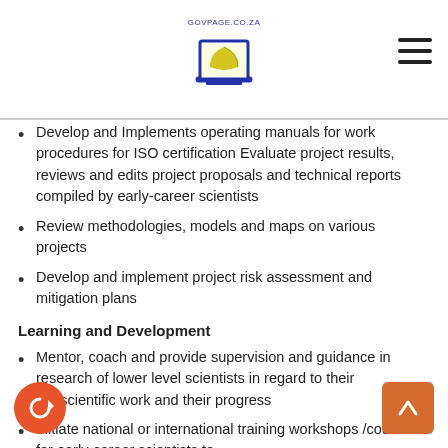govpage.co.za [logo]
Develop and Implements operating manuals for work procedures for ISO certification Evaluate project results, reviews and edits project proposals and technical reports compiled by early-career scientists
Review methodologies, models and maps on various projects
Develop and implement project risk assessment and mitigation plans
Learning and Development
Mentor, coach and provide supervision and guidance in research of lower level scientists in regard to their geoscientific work and their progress
Initiate national or international training workshops /courses for early-career scientists to